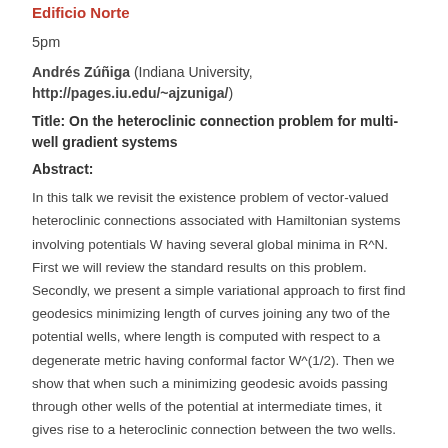Edificio Norte
5pm
Andrés Zúñiga (Indiana University, http://pages.iu.edu/~ajzuniga/)
Title: On the heteroclinic connection problem for multi-well gradient systems
Abstract:
In this talk we revisit the existence problem of vector-valued heteroclinic connections associated with Hamiltonian systems involving potentials W having several global minima in R^N. First we will review the standard results on this problem. Secondly, we present a simple variational approach to first find geodesics minimizing length of curves joining any two of the potential wells, where length is computed with respect to a degenerate metric having conformal factor W^(1/2). Then we show that when such a minimizing geodesic avoids passing through other wells of the potential at intermediate times, it gives rise to a heteroclinic connection between the two wells.